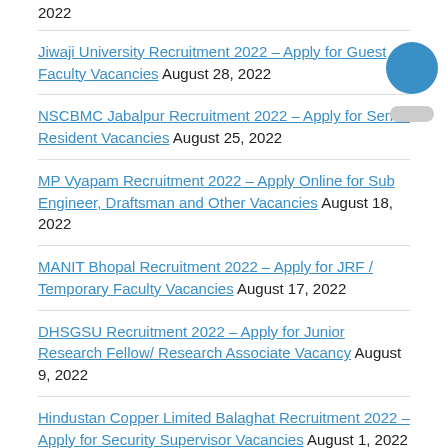2022
Jiwaji University Recruitment 2022 – Apply for Guest Faculty Vacancies August 28, 2022
NSCBMC Jabalpur Recruitment 2022 – Apply for Senior Resident Vacancies August 25, 2022
MP Vyapam Recruitment 2022 – Apply Online for Sub Engineer, Draftsman and Other Vacancies August 18, 2022
MANIT Bhopal Recruitment 2022 – Apply for JRF / Temporary Faculty Vacancies August 17, 2022
DHSGSU Recruitment 2022 – Apply for Junior Research Fellow/ Research Associate Vacancy August 9, 2022
Hindustan Copper Limited Balaghat Recruitment 2022 – Apply for Security Supervisor Vacancies August 1, 2022